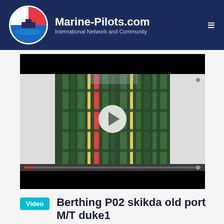Marine-Pilots.com — International Network and Community
[Figure (screenshot): Video player showing an industrial ship structure with green pipes and ladders. Video is paused with a play button visible. Black bars at top and bottom. Progress bar with red fill at bottom of player.]
Video  Berthing P02 skikda old port M/T duke1